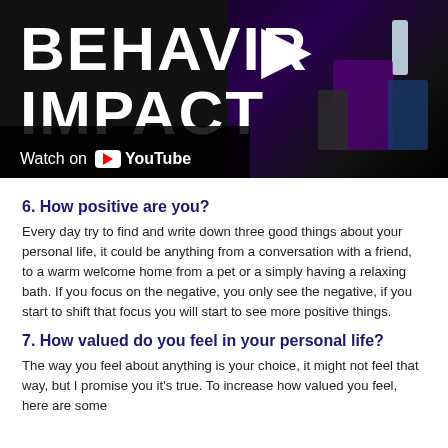[Figure (screenshot): YouTube video thumbnail showing bold white text 'BEHAVIOR IMPACT' on dark background with a stage scene, and a 'Watch on YouTube' overlay at the bottom left.]
6. How positive are you?
Every day try to find and write down three good things about your personal life, it could be anything from a conversation with a friend, to a warm welcome home from a pet or a simply having a relaxing bath. If you focus on the negative, you only see the negative, if you start to shift that focus you will start to see more positive things.
7. How valued do you feel in your personal life?
The way you feel about anything is your choice, it might not feel that way, but I promise you it's true. To increase how valued you feel, here are some